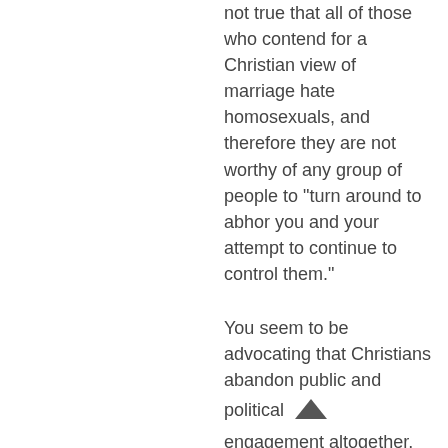not true that all of those who contend for a Christian view of marriage hate homosexuals, and therefore they are not worthy of any group of people to “turn around to abhor you and your attempt to continue to control them.”
You seem to be advocating that Christians abandon public and political engagement altogether. Is this the case? Should we shame